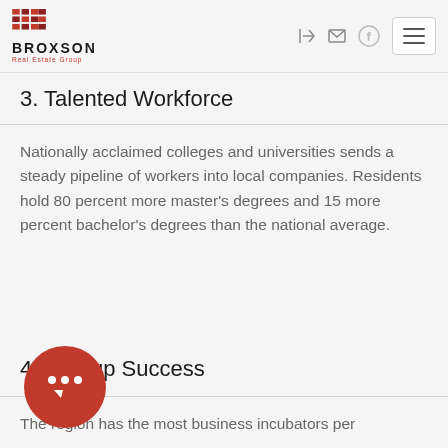BROXSON Real Estate Group
3. Talented Workforce
Nationally acclaimed colleges and universities sends a steady pipeline of workers into local companies. Residents hold 80 percent more master's degrees and 15 more percent bachelor's degrees than the national average.
4. Startup Success
The region has the most business incubators per